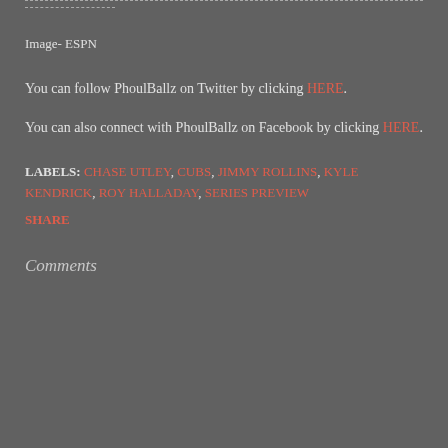————————————————————————————————————————————————————————
Image- ESPN
You can follow PhoulBallz on Twitter by clicking HERE.
You can also connect with PhoulBallz on Facebook by clicking HERE.
LABELS: CHASE UTLEY, CUBS, JIMMY ROLLINS, KYLE KENDRICK, ROY HALLADAY, SERIES PREVIEW
SHARE
Comments